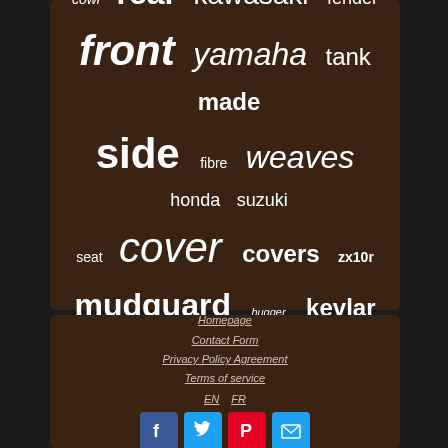[Figure (infographic): Tag cloud on dark brown background with motorcycle parts keywords in various sizes and styles: fairing, carbon, glossy, gloss, cowl, rear, kawasaki, fender, front, yamaha, tank, made, side, fibre, weaves, honda, suzuki, seat, cover, covers, zx10r, mudguard, hugger, kevlar, tail, fabric, fairings]
Homepage
Contact Form
Privacy Policy Agreement
Terms of service
EN  FR